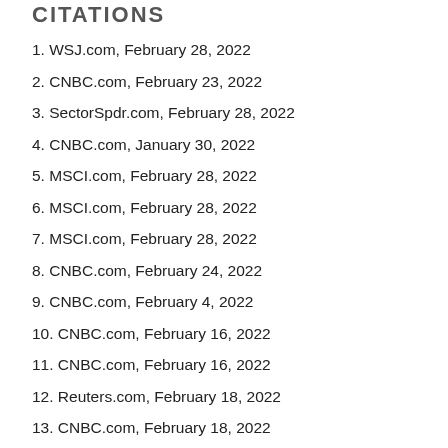CITATIONS
1. WSJ.com, February 28, 2022
2. CNBC.com, February 23, 2022
3. SectorSpdr.com, February 28, 2022
4. CNBC.com, January 30, 2022
5. MSCI.com, February 28, 2022
6. MSCI.com, February 28, 2022
7. MSCI.com, February 28, 2022
8. CNBC.com, February 24, 2022
9. CNBC.com, February 4, 2022
10. CNBC.com, February 16, 2022
11. CNBC.com, February 16, 2022
12. Reuters.com, February 18, 2022
13. CNBC.com, February 18, 2022
14. Reuters.com, February 24, 2022
15. WSJ.com, February 10, 2022